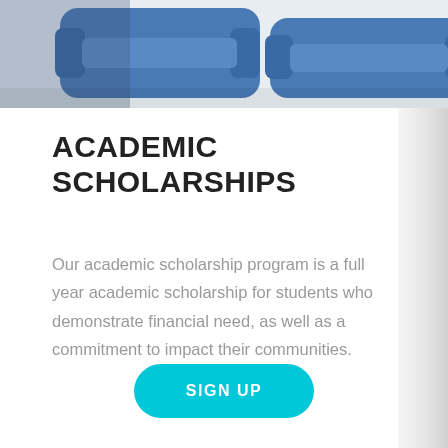[Figure (photo): Close-up photo of blue dumbbells / hand weights on a light background, partially cropped at the top of the page]
ACADEMIC SCHOLARSHIPS
Our academic scholarship program is a full year academic scholarship for students who demonstrate financial need, as well as a commitment to impact their communities.
SIGN UP